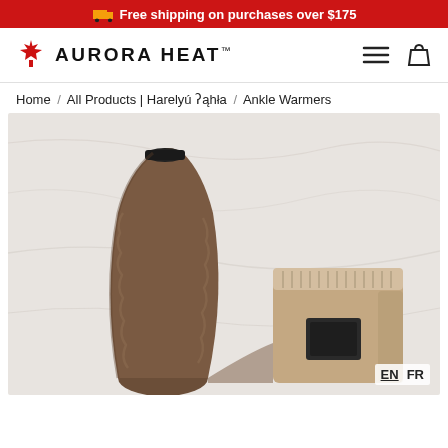🚚 Free shipping on purchases over $175
[Figure (logo): Aurora Heat logo with Canadian maple leaf and stylized text]
Home / All Products | Harelyú ʔąhła / Ankle Warmers
[Figure (photo): Product photo of fuzzy brown ankle warmers on a light marble surface, showing two rolled/folded ankle warmer styles with dark accents and a label patch]
EN  FR